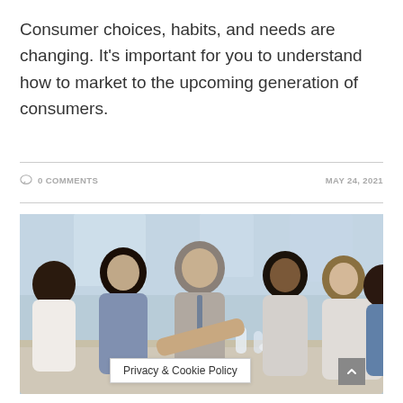Consumer choices, habits, and needs are changing. It's important for you to understand how to market to the upcoming generation of consumers.
0 COMMENTS   MAY 24, 2021
[Figure (photo): Group of business professionals sitting around a conference table in discussion, with glasses of water on the table, in a bright office setting.]
Privacy & Cookie Policy